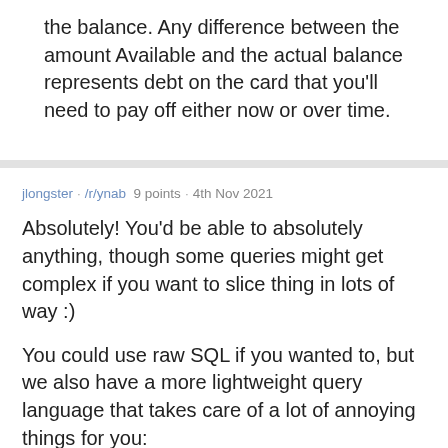the balance. Any difference between the amount Available and the actual balance represents debt on the card that you'll need to pay off either now or over time.
jlongster · /r/ynab  9 points · 4th Nov 2021
Absolutely! You'd be able to absolutely anything, though some queries might get complex if you want to slice thing in lots of way :)
You could use raw SQL if you wanted to, but we also have a more lightweight query language that takes care of a lot of annoying things for you: https://actualbudget.com/docs/developers/ActualQL/
iends · /r/ynab  9 points · 11th Aug 2016
Seems odd to track your home as an off budget